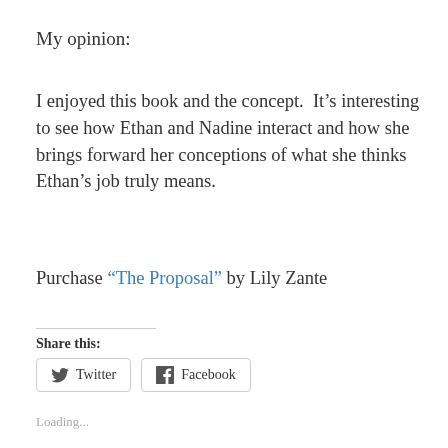My opinion:
I enjoyed this book and the concept. It's interesting to see how Ethan and Nadine interact and how she brings forward her conceptions of what she thinks Ethan's job truly means.
Purchase “The Proposal” by Lily Zante
Share this:
Twitter  Facebook
Loading...